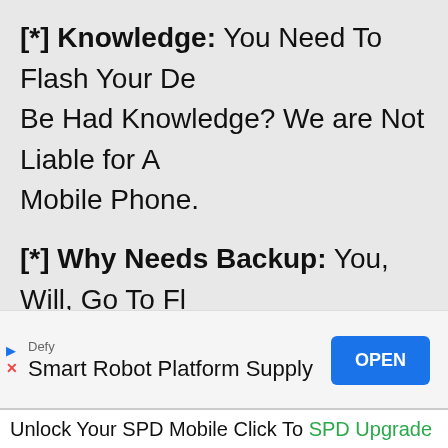[*] Knowledge: You Need To Flash Your De... Be Had Knowledge? We are Not Liable for A... Mobile Phone.
[*] Why Needs Backup: You, Will, Go To Fl... Phone But Need a Backup Of Your Devic... Completed Then Loss Your All Data.
[*] USB Driver: You Need a USB Driver To C... To The Pc/ Laptop then Download Here Sams...
[Figure (infographic): Advertisement banner: Defy brand, Smart Robot Platform Supply, blue OPEN button, with arrow and X dismiss icons]
Unlock Your SPD Mobile Click To SPD Upgrade